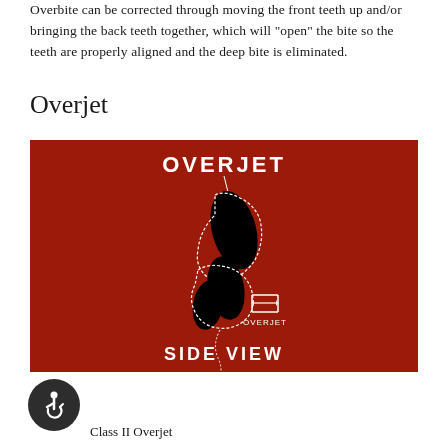Overbite can be corrected through moving the front teeth up and/or bringing the back teeth together, which will "open" the bite so the teeth are properly aligned and the deep bite is eliminated.
Overjet
[Figure (illustration): Medical diagram showing a side view of teeth demonstrating overjet. Red background with black tooth silhouettes labeled 'OVERJET' at top and 'SIDE VIEW' at bottom. A measurement arrow indicates the overjet distance with label 'OVERJET'.]
Class II Overjet